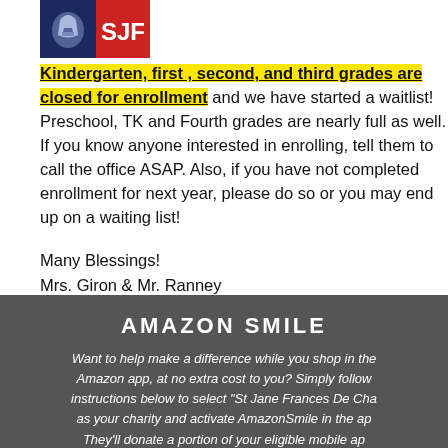[Figure (logo): SJF school logo with knight helmet icon and red/blue colored blocks with letters SJF]
Kindergarten, first , second, and third grades are closed for enrollment and we have started a waitlist! Preschool, TK and Fourth grades are nearly full as well. If you know anyone interested in enrolling, tell them to call the office ASAP. Also, if you have not completed enrollment for next year, please do so or you may end up on a waiting list!
Many Blessings!
Mrs. Giron & Mr. Ranney
AMAZON SMILE
Want to help make a difference while you shop in the Amazon app, at no extra cost to you? Simply follow instructions below to select "St Jane Frances De Chantal" as your charity and activate AmazonSmile in the app. They'll donate a portion of your eligible mobile app purchases to us!